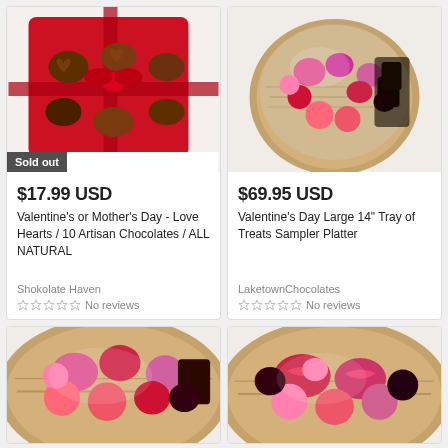[Figure (photo): Red heart-shaped box of artisan chocolates with ribbon, sold out badge overlay]
$17.99 USD
Valentine's or Mother's Day - Love Hearts / 10 Artisan Chocolates / ALL NATURAL
Shokolate Haven
No reviews
[Figure (photo): Round tray with assorted Valentine's Day candies and chocolates wrapped in cellophane]
$69.95 USD
Valentine's Day Large 14" Tray of Treats Sampler Platter
LaketownChocolates
No reviews
[Figure (photo): Partial view of a basket with assorted Valentine's chocolates and candies]
[Figure (photo): Partial view of a basket with assorted Valentine's chocolates and candies]